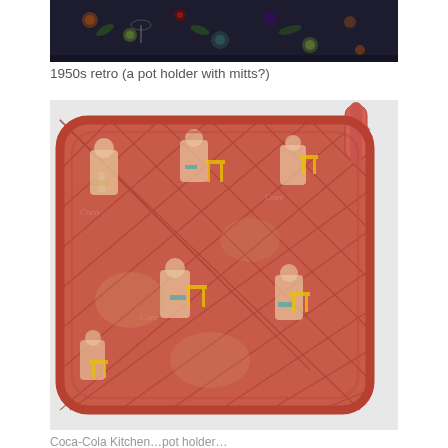[Figure (photo): Top portion of a dark navy/black floral patterned pot holder or oven mitt with colorful flower designs on a dark background]
1950s retro (a pot holder with mitts?)
[Figure (photo): A red quilted pot holder with a loop/tab at the top right corner. The fabric features a faded pattern with figures, Coca-Cola script logos, and colorful yellow and teal accents on a worn pinkish-red quilted background]
Coca-Cola Kitchen…pot holder… More…on it…